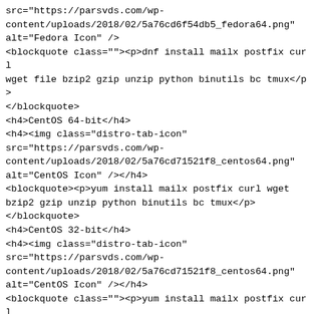src="https://parsvds.com/wp-content/uploads/2018/02/5a76cd6f54db5_fedora64.png" alt="Fedora Icon" /></h4>
<blockquote class=""><p>dnf install mailx postfix curl wget file bzip2 gzip unzip python binutils bc tmux</p>
</blockquote>
<h4>CentOS 64-bit</h4>
<h4><img class="distro-tab-icon"
src="https://parsvds.com/wp-content/uploads/2018/02/5a76cd71521f8_centos64.png"
alt="CentOS Icon" /></h4>
<blockquote><p>yum install mailx postfix curl wget bzip2 gzip unzip python binutils bc tmux</p>
</blockquote>
<h4>CentOS 32-bit</h4>
<h4><img class="distro-tab-icon"
src="https://parsvds.com/wp-content/uploads/2018/02/5a76cd71521f8_centos64.png"
alt="CentOS Icon" /></h4>
<blockquote class=""><p>yum install mailx postfix curl wget bzip2 gzip unzip python binutils bc tmux</p>
</blockquote>
<h2><span style="color: #ff0000;">نصب</span></h2>
<p>۱. ایجاد یک یوزر و ورود به سیستم.</p>
<blockquote><p>adduser mumbleserver</p></blockquote>
<blockquote><p>passwd mumbleserver</p></blockquote>
<blockquote><p>su &#8211; mumbleserver</p></blockquote>
<p>۲. دانلود و اجرای اسکریبت.</p>
<blockquote><p>wget -N &#8211;no-check-certificate https://gameservermanagers.com/dl/linuxgsm.sh